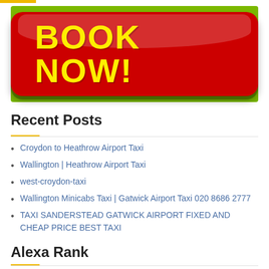[Figure (illustration): Green background banner with a red rounded button containing bold yellow text reading 'BOOK NOW!']
Recent Posts
Croydon to Heathrow Airport Taxi
Wallington | Heathrow Airport Taxi
west-croydon-taxi
Wallington Minicabs Taxi | Gatwick Airport Taxi 020 8686 2777
TAXI SANDERSTEAD GATWICK AIRPORT FIXED AND CHEAP PRICE BEST TAXI
Alexa Rank